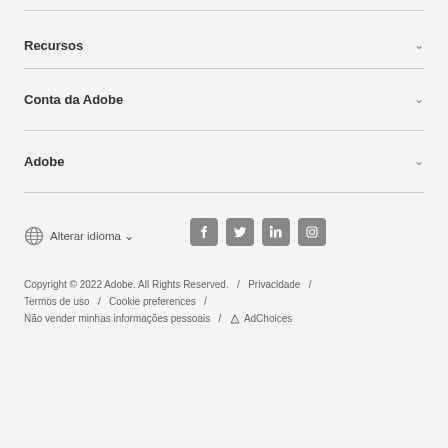Recursos
Conta da Adobe
Adobe
Alterar idioma
Copyright © 2022 Adobe. All Rights Reserved. / Privacidade / Termos de uso / Cookie preferences / Não vender minhas informações pessoais / AdChoices